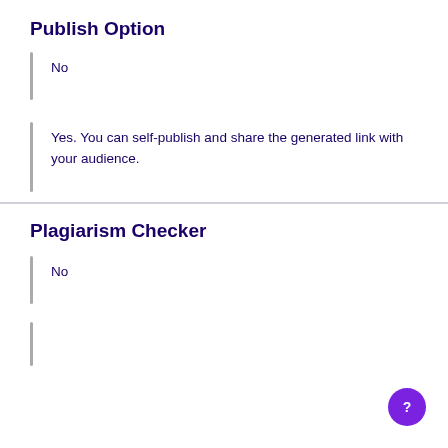Publish Option
No
Yes. You can self-publish and share the generated link with your audience.
Plagiarism Checker
No